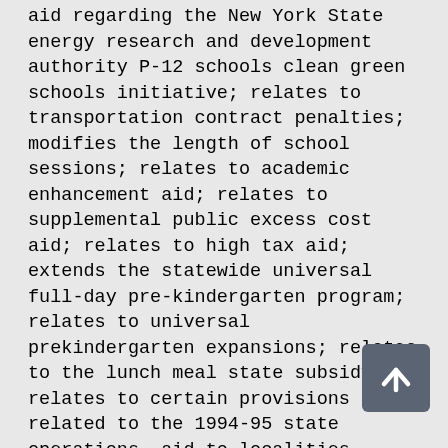aid regarding the New York State energy research and development authority P-12 schools clean green schools initiative; relates to transportation contract penalties; modifies the length of school sessions; relates to academic enhancement aid; relates to supplemental public excess cost aid; relates to high tax aid; extends the statewide universal full-day pre-kindergarten program; relates to universal prekindergarten expansions; relates to the lunch meal state subsidy; relates to certain provisions related to the 1994-95 state operations, aid to localities, capital projects and debt service budgets; relates to conditional appointment of school district, charter school or